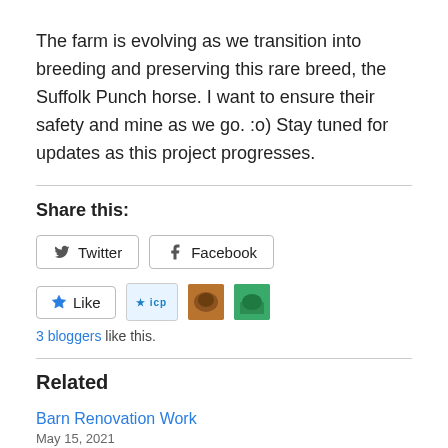The farm is evolving as we transition into breeding and preserving this rare breed, the Suffolk Punch horse. I want to ensure their safety and mine as we go. :o) Stay tuned for updates as this project progresses.
Share this:
[Figure (other): Social share buttons for Twitter and Facebook, and a Like button with 3 blogger avatars]
3 bloggers like this.
Related
Barn Renovation Work
May 15, 2021
In "May 2021"